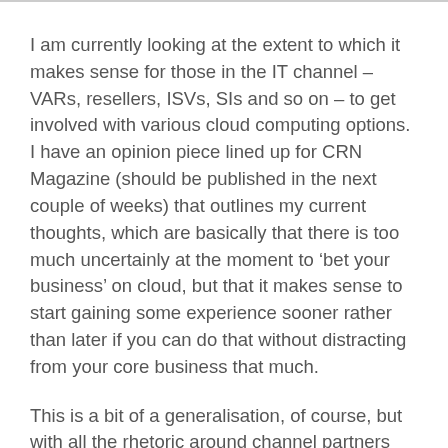I am currently looking at the extent to which it makes sense for those in the IT channel – VARs, resellers, ISVs, SIs and so on – to get involved with various cloud computing options. I have an opinion piece lined up for CRN Magazine (should be published in the next couple of weeks) that outlines my current thoughts, which are basically that there is too much uncertainly at the moment to 'bet your business' on cloud, but that it makes sense to start gaining some experience sooner rather than later if you can do that without distracting from your core business that much.
This is a bit of a generalisation, of course, but with all the rhetoric around channel partners having to 'get with the programme' or risk being left out in the cold, I thought something was required to balance the debate.